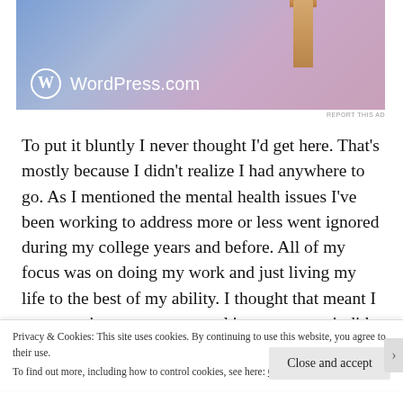[Figure (screenshot): WordPress.com advertisement banner with blue-purple gradient background, a wooden pillar/column graphic on the right, and the WordPress.com logo with white circle W icon on the lower left]
To put it bluntly I never thought I'd get here. That's mostly because I didn't realize I had anywhere to go. As I mentioned the mental health issues I've been working to address more or less went ignored during my college years and before. All of my focus was on doing my work and just living my life to the best of my ability. I thought that meant I was growing as a person, and in some ways it did,
Privacy & Cookies: This site uses cookies. By continuing to use this website, you agree to their use. To find out more, including how to control cookies, see here: Cookie Policy